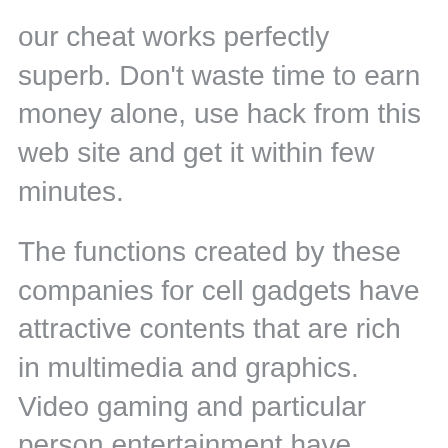our cheat works perfectly superb. Don't waste time to earn money alone, use hack from this web site and get it within few minutes.
The functions created by these companies for cell gadgets have attractive contents that are rich in multimedia and graphics. Video gaming and particular person entertainment have developed more than the last few years. With enhance in iPhone person base, iPhone functions Improvement has turn into an another growth of a small business technique, each from the sales advertising and branding perspective for your